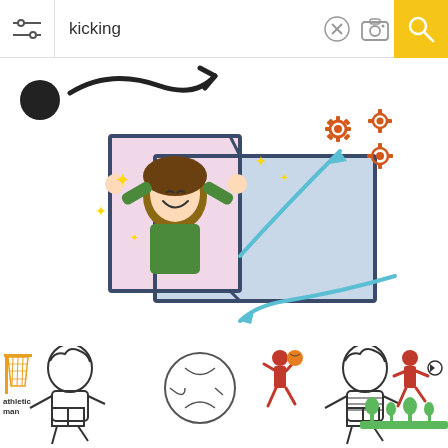[Figure (screenshot): Search bar with filter icon on left, 'kicking' text, close/camera icons, and yellow search button on right]
[Figure (illustration): Partial image at top showing a ball and curved line/check mark graphic]
[Figure (illustration): Middle illustration showing a child in green shirt with arms raised holding open a door/window panel, with blue arrows and orange gear/cog decorations]
[Figure (illustration): Bottom section showing coloring book style children playing basketball, and colorful soccer/sports illustrations with 'athletic man' text]